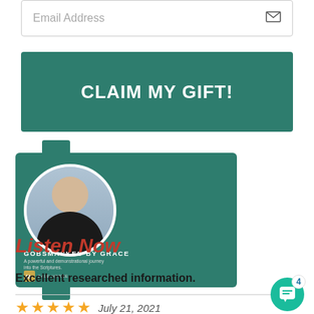[Figure (screenshot): Email address input field with placeholder text and envelope icon on the right]
[Figure (screenshot): Large teal/green button with white bold text reading CLAIM MY GIFT!]
[Figure (illustration): Podcast cover art for Gobsmacked by Grace showing a woman's headshot in a circle on a teal background with book title and subtitle text]
Listen Now
Excellent researched information.
[Figure (other): 5 gold stars rating and date July 21, 2021]